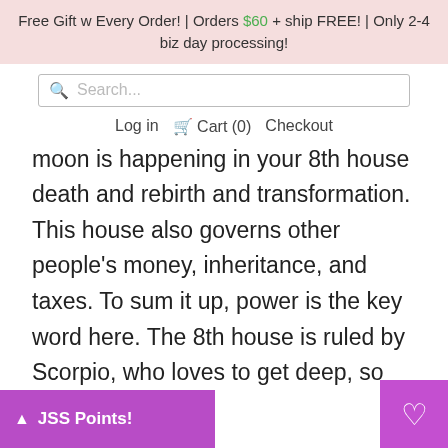Free Gift w Every Order! | Orders $60 + ship FREE! | Only 2-4 biz day processing!
[Figure (screenshot): Search bar with magnifying glass icon and placeholder text 'Search...']
Log in  Cart (0)  Checkout
moon is happening in your 8th house death and rebirth and transformation. This house also governs other people's money, inheritance, and taxes. To sum it up, power is the key word here. The 8th house is ruled by Scorpio, who loves to get deep, so doing inner work/shadow work on this new moon will be very healing and unlock where transforming your relationship to power and/or money needs attention. the moon starts to wax a day or 2
JSS Points!